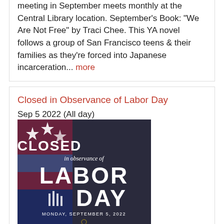meeting in September meets monthly at the Central Library location. September's Book: "We Are Not Free" by Traci Chee. This YA novel follows a group of San Francisco teens & their families as they're forced into Japanese incarceration... more
Closed in Observance of Labor Day
Sep 5 2022 (All day)
[Figure (photo): Decorative image with American flag background and text reading 'CLOSED in observance of LABOR DAY, MONDAY, SEPTEMBER 5, 2022' with Pasadena Public Library logo]
The Central and Fairmont Library will be closed Monday, September 5, 2022 in observance of Labor Day. Both